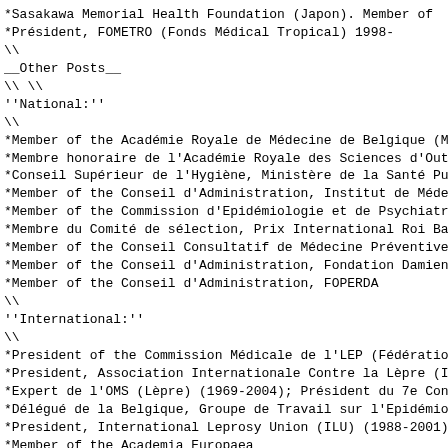*Sasakawa Memorial Health Foundation (Japon). Member of
*Président, FOMETRO (Fonds Médical Tropical) 1998-
\\
__Other Posts__
\\ \\
''National:''
\\
*Member of the Académie Royale de Médecine de Belgique (M
*Membre honoraire de l'Académie Royale des Sciences d'Out
*Conseil Supérieur de l'Hygiène, Ministère de la Santé Pu
*Member of the Conseil d'Administration, Institut de Méde
*Member of the Commission d'Epidémiologie et de Psychiatr
*Membre du Comité de sélection, Prix International Roi Ba
*Member of the Conseil Consultatif de Médecine Préventive
*Member of the Conseil d'Administration, Fondation Damien
*Member of the Conseil d'Administration, FOPERDA
\\
''International:''
\\
*President of the Commission Médicale de l'LEP (Fédératio
*President, Association Internationale Contre la Lèpre (I
*Expert de l'OMS (Lèpre) (1969-2004); Président du 7e Con
*Délégué de la Belgique, Groupe de Travail sur l'Epidémio
*President, International Leprosy Union (ILU) (1988-2001)
*Member of the Academia Europaea
*Chef de Projet, Action Concertée sur la Surveillance des
*Président du Comité de Gestion du Fonds Alphonse et Jean
*Membre du Conseil Scientifique de l'Institut Scientifique